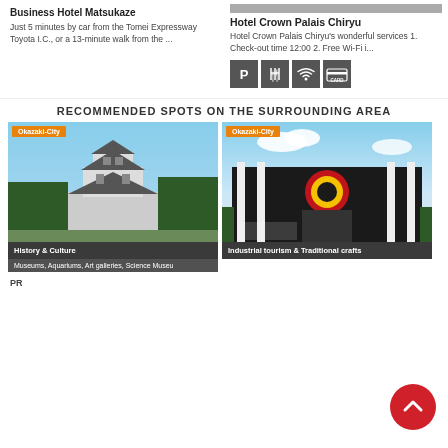Business Hotel Matsukaze
Just 5 minutes by car from the Tomei Expressway Toyota I.C., or a 13-minute walk from the ...
[Figure (photo): Hotel Crown Palais Chiryu exterior photo (top of image, partial)]
Hotel Crown Palais Chiryu
Hotel Crown Palais Chiryu's wonderful services 1. Check-out time 12:00 2. Free Wi-Fi i...
[Figure (infographic): Amenity icons: Parking (P), Restaurant (fork/knife), Wi-Fi, Card payment]
RECOMMENDED SPOTS ON THE SURROUNDING AREA
[Figure (photo): Okazaki City Japanese castle (History & Culture). Tag: Okazaki-City. Label: History & Culture. Sub: Museums, Aquariums, Art galleries, Science Museu]
[Figure (photo): Okazaki City industrial building (Industrial tourism & Traditional crafts). Tag: Okazaki-City. Label: Industrial tourism & Traditional crafts]
PR